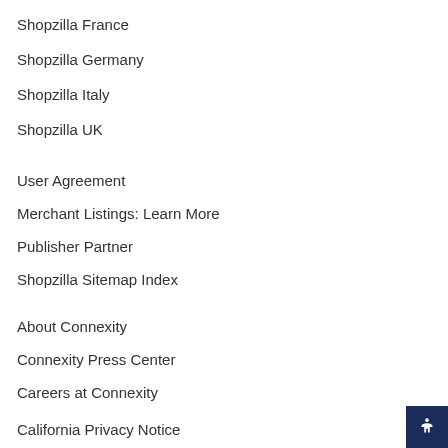Shopzilla France
Shopzilla Germany
Shopzilla Italy
Shopzilla UK
User Agreement
Merchant Listings: Learn More
Publisher Partner
Shopzilla Sitemap Index
About Connexity
Connexity Press Center
Careers at Connexity
California Privacy Notice